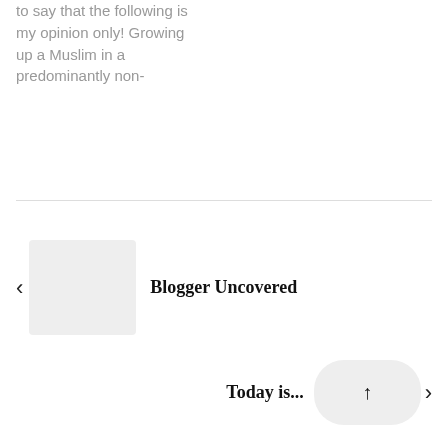to say that the following is my opinion only! Growing up a Muslim in a predominantly non-
Blogger Uncovered
Today is...